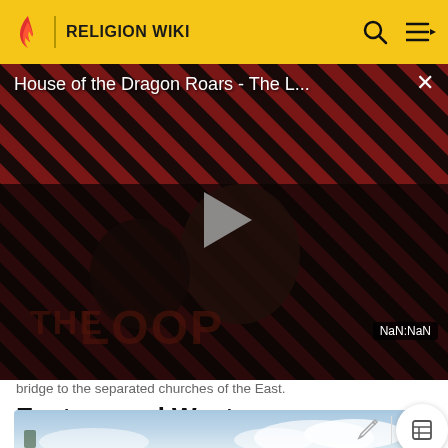RELIGION WIKI
[Figure (screenshot): Video player showing 'House of the Dragon Roars - The L...' with THE LOOP branding, dark figures in background, diagonal red and black striped pattern, play button in center, NaN:NaN time badge, close X button]
bridge to the separated churches of the East.
Eastern and Western (Latin) Catholics
[Figure (photo): Partial blue sky with clouds at bottom of page]